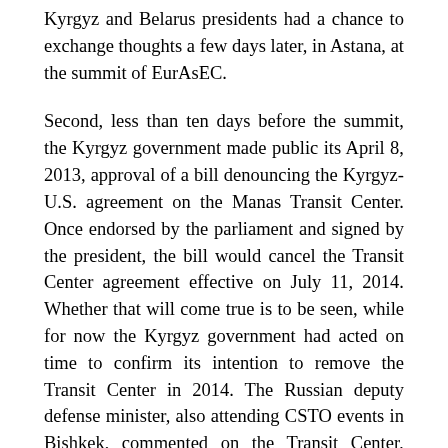Kyrgyz and Belarus presidents had a chance to exchange thoughts a few days later, in Astana, at the summit of EurAsEC.
Second, less than ten days before the summit, the Kyrgyz government made public its April 8, 2013, approval of a bill denouncing the Kyrgyz-U.S. agreement on the Manas Transit Center. Once endorsed by the parliament and signed by the president, the bill would cancel the Transit Center agreement effective on July 11, 2014. Whether that will come true is to be seen, while for now the Kyrgyz government had acted on time to confirm its intention to remove the Transit Center in 2014. The Russian deputy defense minister, also attending CSTO events in Bishkek, commented on the Transit Center, saying, “Everything regarding the Manas Transit Center was said, now we are waiting for relevant decisions,” and